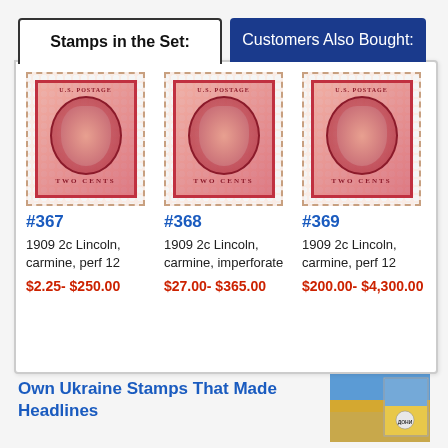Stamps in the Set:
Customers Also Bought:
#367
1909 2c Lincoln, carmine, perf 12
$2.25- $250.00
#368
1909 2c Lincoln, carmine, imperforate
$27.00- $365.00
#369
1909 2c Lincoln, carmine, perf 12
$200.00- $4,300.00
Own Ukraine Stamps That Made Headlines